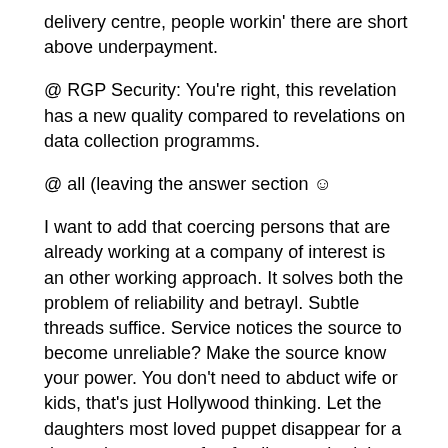delivery centre, people workin' there are short above underpayment.
@ RGP Security: You're right, this revelation has a new quality compared to revelations on data collection programms.
@ all (leaving the answer section ☺
I want to add that coercing persons that are already working at a company of interest is an other working approach. It solves both the problem of reliability and betrayl. Subtle threads suffice. Service notices the source to become unreliable? Make the source know your power. You don't need to abduct wife or kids, that's just Hollywood thinking. Let the daughters most loved puppet disappear for a day and reappear after family searched the whole house. Let the source know it was you.
You can also address disappointed employees. Give them the money their boss won't pay. Or address employees with personal problems. Help them. Be the go-to-guy in the bar. Show them you care. The warm and cuddly stuff, you know.